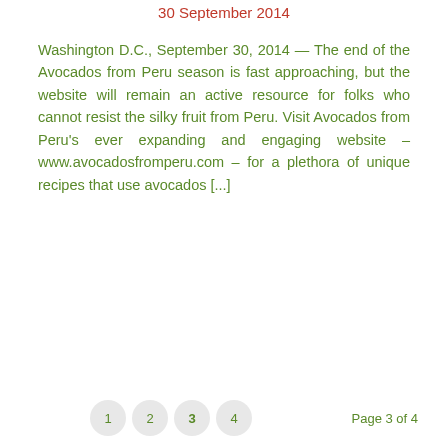30 September 2014
Washington D.C., September 30, 2014 — The end of the Avocados from Peru season is fast approaching, but the website will remain an active resource for folks who cannot resist the silky fruit from Peru. Visit Avocados from Peru's ever expanding and engaging website – www.avocadosfromperu.com – for a plethora of unique recipes that use avocados [...]
1  2  3  4   Page 3 of 4